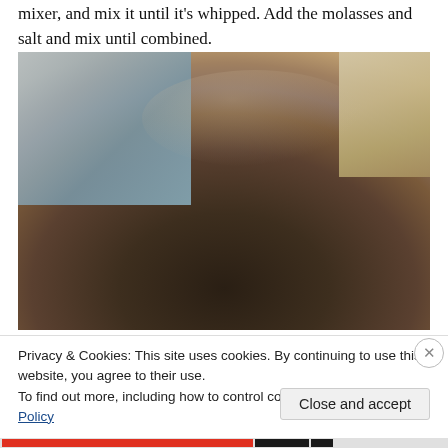mixer, and mix it until it's whipped. Add the molasses and salt and mix until combined.
[Figure (photo): Close-up photograph of a large stainless steel mixing bowl on a granite countertop, with a dark interior visible. A kitchen scale or book is visible in the upper right corner.]
Privacy & Cookies: This site uses cookies. By continuing to use this website, you agree to their use.
To find out more, including how to control cookies, see here: Cookie Policy
Close and accept